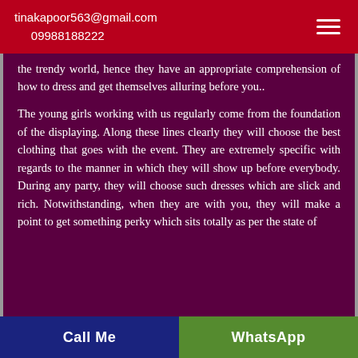tinakapoor563@gmail.com
09988188222
the trendy world, hence they have an appropriate comprehension of how to dress and get themselves alluring before you..
The young girls working with us regularly come from the foundation of the displaying. Along these lines clearly they will choose the best clothing that goes with the event. They are extremely specific with regards to the manner in which they will show up before everybody. During any party, they will choose such dresses which are slick and rich. Notwithstanding, when they are with you, they will make a point to get something perky which sits totally as per the state of
Call Me    WhatsApp